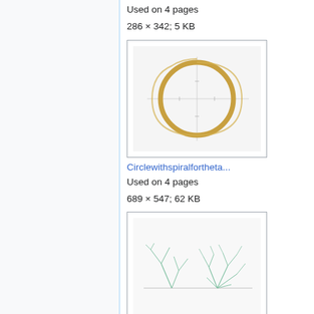Used on 4 pages
286 × 342; 5 KB
[Figure (illustration): Circle with spiral for theta — golden/yellow circle with arc spiral on white background with faint crosshairs]
Circlewithspiralfortheta...
Used on 4 pages
689 × 547; 62 KB
[Figure (illustration): Wazewski.png — green/teal branching lines resembling plant or fractal structure on white background with horizontal line]
Wazewski.png
Used on 4 pages